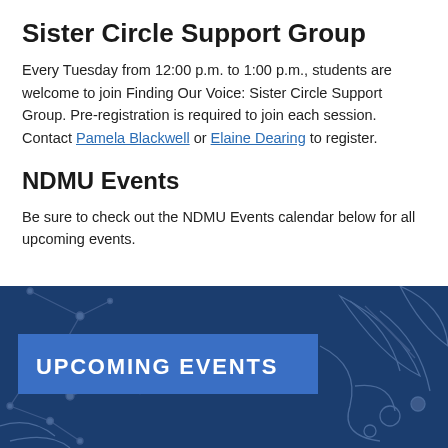Sister Circle Support Group
Every Tuesday from 12:00 p.m. to 1:00 p.m., students are welcome to join Finding Our Voice: Sister Circle Support Group. Pre-registration is required to join each session. Contact Pamela Blackwell or Elaine Dearing to register.
NDMU Events
Be sure to check out the NDMU Events calendar below for all upcoming events.
[Figure (illustration): Dark navy blue banner with botanical and constellation decorative line art patterns, featuring a blue rectangle with bold white uppercase text reading UPCOMING EVENTS]